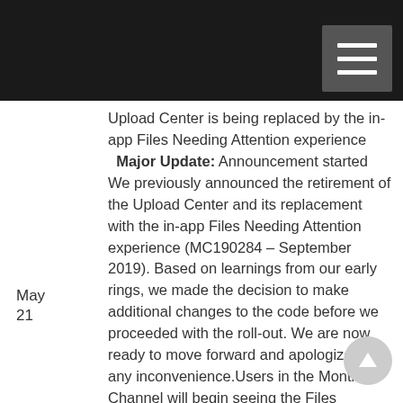[Navigation bar with hamburger menu]
Upload Center is being replaced by the in-app Files Needing Attention experience
Major Update: Announcement started
We previously announced the retirement of the Upload Center and its replacement with the in-app Files Needing Attention experience (MC190284 – September 2019). Based on learnings from our early rings, we made the decision to make additional changes to the code before we proceeded with the roll-out. We are now ready to move forward and apologize for any inconvenience.Users in the Monthly Channel will begin seeing the Files Needing Attention experience mid-May 2020 and the feature will be rolled ... More
May 21